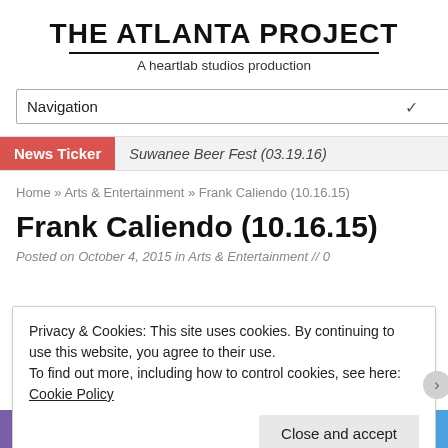THE ATLANTA PROJECT
A heartlab studios production
Navigation
News Ticker  Suwanee Beer Fest (03.19.16)
Home » Arts & Entertainment » Frank Caliendo (10.16.15)
Frank Caliendo (10.16.15)
Posted on October 4, 2015 in Arts & Entertainment // 0
Privacy & Cookies: This site uses cookies. By continuing to use this website, you agree to their use.
To find out more, including how to control cookies, see here: Cookie Policy
Close and accept